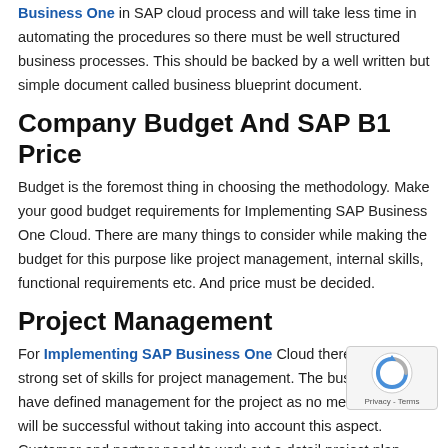Business One in SAP cloud process and will take less time in automating the procedures so there must be well structured business processes. This should be backed by a well written but simple document called business blueprint document.
Company Budget And SAP B1 Price
Budget is the foremost thing in choosing the methodology. Make your good budget requirements for Implementing SAP Business One Cloud. There are many things to consider while making the budget for this purpose like project management, internal skills, functional requirements etc. And price must be decided.
Project Management
For Implementing SAP Business One Cloud there must be a strong set of skills for project management. The business must have defined management for the project as no methodology will be successful without taking into account this aspect. Customer and partner need to work out a detail project plan, share it with concerned stakeholders and review the progress frequently. It helps if the customer appoints a project manager who can ensure that things are getting done on time.
Master Data Accuracy